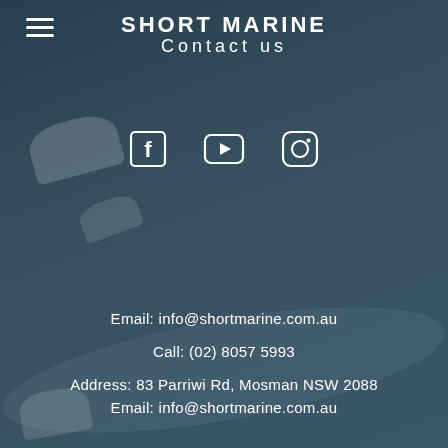[Figure (photo): Aerial/overhead view of dark teal-blue water with boat silhouettes visible, serving as background image for a marine company contact page]
SHORT MARINE / Contact us
[Figure (infographic): Social media icons: Facebook (f), YouTube (play button), Instagram (camera/circle logo) displayed in white on dark background]
Email: info@shortmarine.com.au
Call: (02) 8057 5993
Address: 83 Parriwi Rd, Mosman NSW 2088
Email: info@shortmarine.com.au